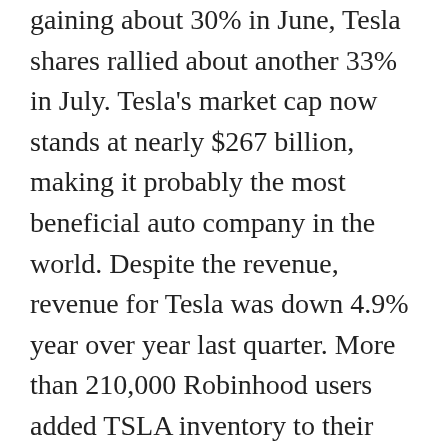gaining about 30% in June, Tesla shares rallied about another 33% in July. Tesla's market cap now stands at nearly $267 billion, making it probably the most beneficial auto company in the world. Despite the revenue, revenue for Tesla was down 4.9% year over year last quarter. More than 210,000 Robinhood users added TSLA inventory to their holdings within the final 30 days.
You need to have faced this example quite often that you are unable to go on your dream vacation because of lack of funds, even can't host a destination marriage ceremony because you are working low on funds. But slowly when private loan got here it gave us the key to fulfil